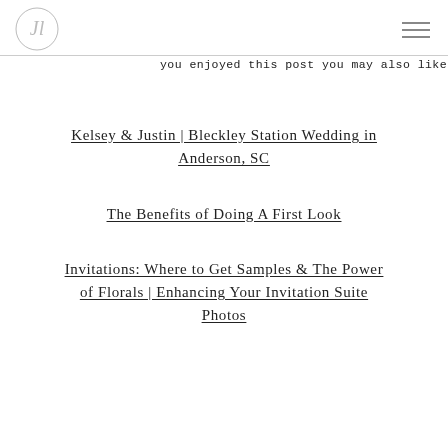JL logo and navigation
you enjoyed this post you may also like these:
Kelsey & Justin | Bleckley Station Wedding in Anderson, SC
The Benefits of Doing A First Look
Invitations: Where to Get Samples & The Power of Florals | Enhancing Your Invitation Suite Photos